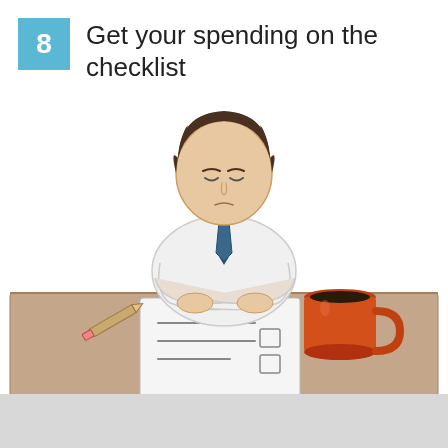8 Get your spending on the checklist
[Figure (illustration): Cartoon illustration of a man in a white shirt and blue tie sitting at a desk with arms crossed, looking down at a document/checklist. An orange coffee mug sits to the right on the desk, and a pencil lies to the left. The desk surface is light brown.]